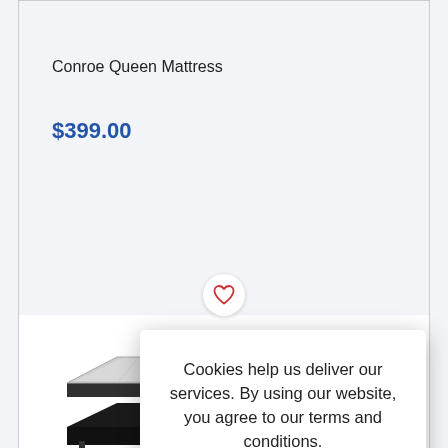Conroe Queen Mattress
$399.00
Cookies help us deliver our services. By using our website, you agree to our terms and conditions.
OK
Learn more
[Figure (photo): A black and white queen mattress with pillow top, photographed at an angle showing the side and top surface.]